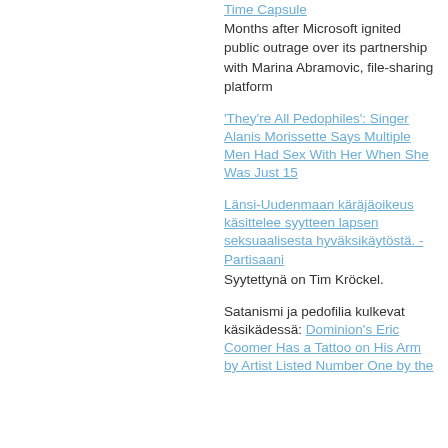Time Capsule
Months after Microsoft ignited public outrage over its partnership with Marina Abramovic, file-sharing platform
'They're All Pedophiles': Singer Alanis Morissette Says Multiple Men Had Sex With Her When She Was Just 15
Länsi-Uudenmaan käräjäoikeus käsittelee syytteen lapsen seksuaalisesta hyväksikäytöstä. - Partisaani
Syytettynä on Tim Kröckel.
Satanismi ja pedofilia kulkevat käsikädessä: Dominion's Eric Coomer Has a Tattoo on His Arm by Artist Listed Number One by the